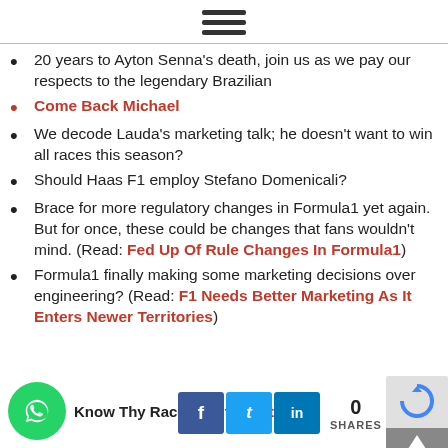[Figure (other): Hamburger menu icon — three horizontal dark bars]
20 years to Ayton Senna's death, join us as we pay our respects to the legendary Brazilian
Come Back Michael
We decode Lauda's marketing talk; he doesn't want to win all races this season?
Should Haas F1 employ Stefano Domenicali?
Brace for more regulatory changes in Formula1 yet again. But for once, these could be changes that fans wouldn't mind. (Read: Fed Up Of Rule Changes In Formula1)
Formula1 finally making some marketing decisions over engineering? (Read: F1 Needs Better Marketing As It Enters Newer Territories)
Know Thy Racer: Aditya Patel